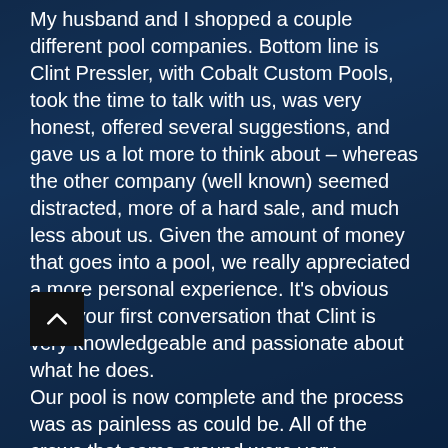My husband and I shopped a couple different pool companies. Bottom line is Clint Pressler, with Cobalt Custom Pools, took the time to talk with us, was very honest, offered several suggestions, and gave us a lot more to think about – whereas the other company (well known) seemed distracted, more of a hard sale, and much less about us. Given the amount of money that goes into a pool, we really appreciated a more personal experience. It's obvious after your first conversation that Clint is very knowledgeable and passionate about what he does.
Our pool is now complete and the process was as painless as could be. All of the crews that came around were very professional and they always kept the job site clean. The quality of work is outstanding and I would highly recommend Cobalt Custom Pools to anyone! Thank you so much Clint – we love our new back yard oasis!!